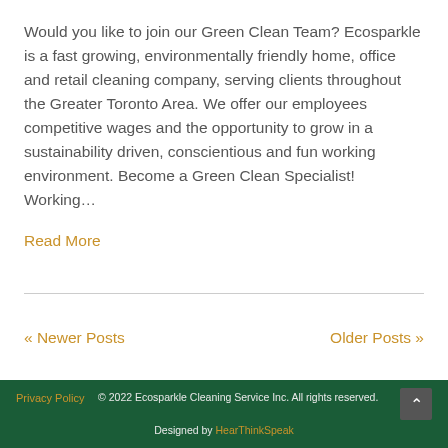Would you like to join our Green Clean Team? Ecosparkle is a fast growing, environmentally friendly home, office and retail cleaning company, serving clients throughout the Greater Toronto Area. We offer our employees competitive wages and the opportunity to grow in a sustainability driven, conscientious and fun working environment. Become a Green Clean Specialist! Working…
Read More
« Newer Posts
Older Posts »
Privacy Policy | © 2022 Ecosparkle Cleaning Service Inc. All rights reserved. | Designed by HearThinkSpeak